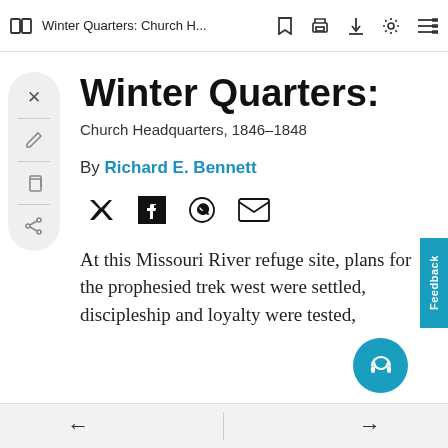Winter Quarters: Church H...
Winter Quarters:
Church Headquarters, 1846–1848
By Richard E. Bennett
At this Missouri River refuge site, plans for the prophesied trek west were settled, discipleship and loyalty were tested,
← →